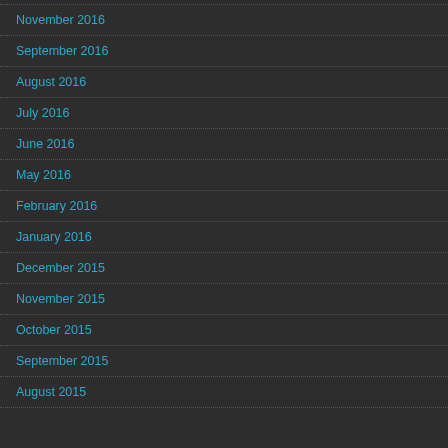November 2016
September 2016
August 2016
July 2016
June 2016
May 2016
February 2016
January 2016
December 2015
November 2015
October 2015
September 2015
August 2015